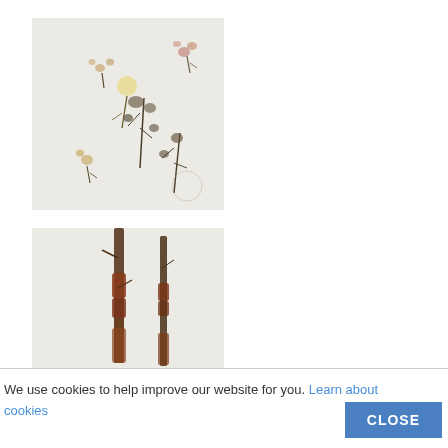[Figure (photo): Herbarium specimen image showing pressed dried small flowers and plant sprigs arranged on a light gray/beige background. Multiple small dried floral specimens with brownish-pink petals and dark stems are visible.]
[Figure (photo): Herbarium specimen image showing pressed dried tall grass or reed stems arranged on a light gray/beige background. Dark brown elongated stems with some reddish coloring at the base.]
We use cookies to help improve our website for you. Learn about cookies
CLOSE